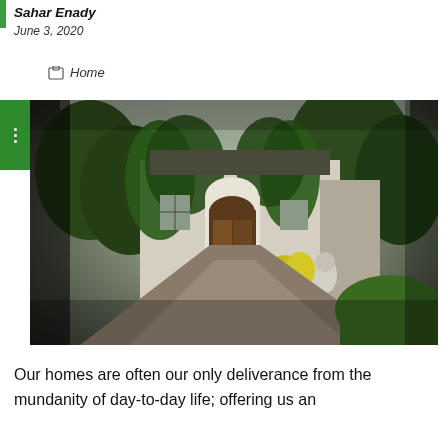Sahar Enady
June 3, 2020
Home
[Figure (photo): Exterior photo of an ivy-covered house with an arched white doorway, gravel driveway, and surrounding trees and garden.]
Our homes are often our only deliverance from the mundanity of day-to-day life; offering us an